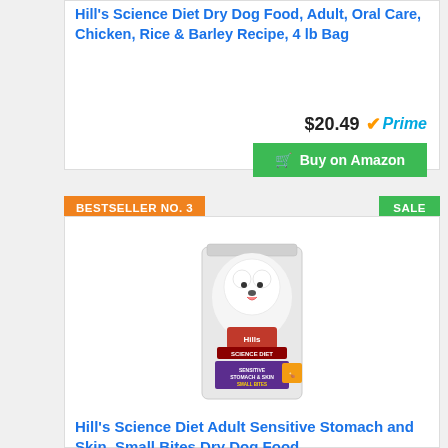Hill's Science Diet Dry Dog Food, Adult, Oral Care, Chicken, Rice & Barley Recipe, 4 lb Bag
$20.49 Prime
Buy on Amazon
BESTSELLER NO. 3
SALE
[Figure (photo): Hill's Science Diet Sensitive Stomach & Skin Small Bites dry dog food bag with white fluffy dog on front]
Hill's Science Diet Adult Sensitive Stomach and Skin, Small Bites Dry Dog Food,